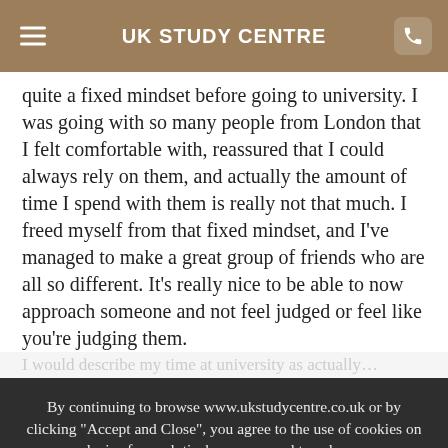UK STUDY CENTRE
quite a fixed mindset before going to university. I was going with so many people from London that I felt comfortable with, reassured that I could always rely on them, and actually the amount of time I spend with them is really not that much. I freed myself from that fixed mindset, and I've managed to make a great group of friends who are all so different. It's really nice to be able to now approach someone and not feel judged or feel like you're judging them.
By continuing to browse www.ukstudycentre.co.uk or by clicking "Accept and Close", you agree to the use of cookies on your device for analytical purposes and to enhance your experience on our site. To learn more about our use of cookies, please visit our Privacy Notice.